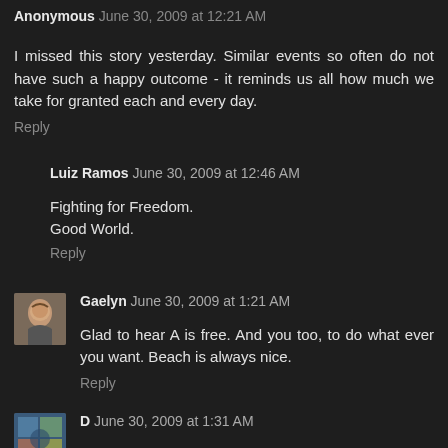Anonymous June 30, 2009 at 12:21 AM
I missed this story yesterday. Similar events so often do not have such a happy outcome - it reminds us all how much we take for granted each and every day.
Reply
Luiz Ramos June 30, 2009 at 12:46 AM
Fighting for Freedom.
Good World.
Reply
Gaelyn June 30, 2009 at 1:21 AM
Glad to hear A is free. And you too, to do what ever you want. Beach is always nice.
Reply
D June 30, 2009 at 1:31 AM